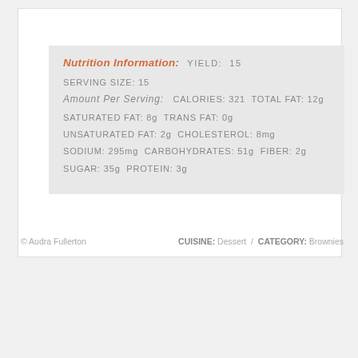Nutrition Information:  YIELD: 15
SERVING SIZE: 15
Amount Per Serving:   CALORIES: 321  TOTAL FAT: 12g
SATURATED FAT: 8g  TRANS FAT: 0g
UNSATURATED FAT: 2g  CHOLESTEROL: 8mg
SODIUM: 295mg  CARBOHYDRATES: 51g  FIBER: 2g
SUGAR: 35g  PROTEIN: 3g
© Audra Fullerton    CUISINE: Dessert  /  CATEGORY: Brownies